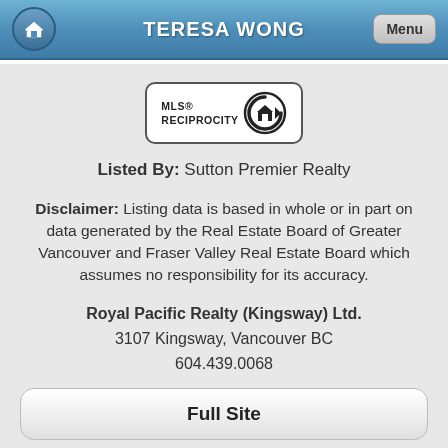TERESA WONG
[Figure (logo): MLS Reciprocity logo — rounded rectangle border with MLS® RECIPROCITY text and a circular home icon badge]
Listed By: Sutton Premier Realty
Disclaimer: Listing data is based in whole or in part on data generated by the Real Estate Board of Greater Vancouver and Fraser Valley Real Estate Board which assumes no responsibility for its accuracy.
Royal Pacific Realty (Kingsway) Ltd.
3107 Kingsway, Vancouver BC
604.439.0068
Full Site